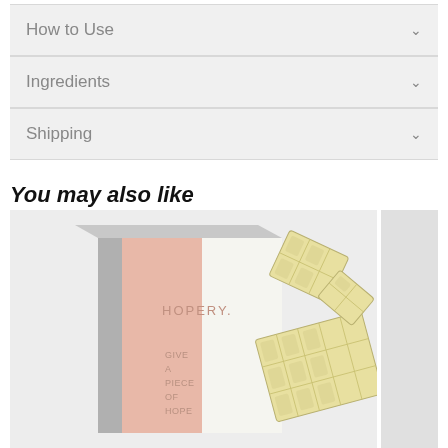How to Use
Ingredients
Shipping
You may also like
[Figure (photo): Product photo of a Hopery brand chocolate box (pink and white packaging with text 'GIVE A PIECE OF HOPE') alongside broken pieces of pale yellow/white chocolate bar, on a light gray background.]